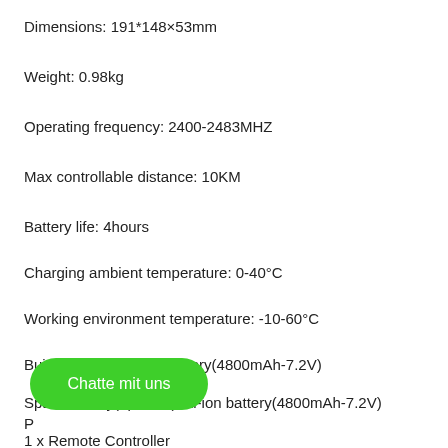Dimensions: 191*148×53mm
Weight: 0.98kg
Operating frequency: 2400-2483MHZ
Max controllable distance: 10KM
Battery life: 4hours
Charging ambient temperature: 0-40°C
Working environment temperature: -10-60°C
Buit-in battery: Li-ion battery(4800mAh-7.2V)
Spare battery(optional): Li-ion battery(4800mAh-7.2V)
P[artially obscured]
1 x Remote Controller